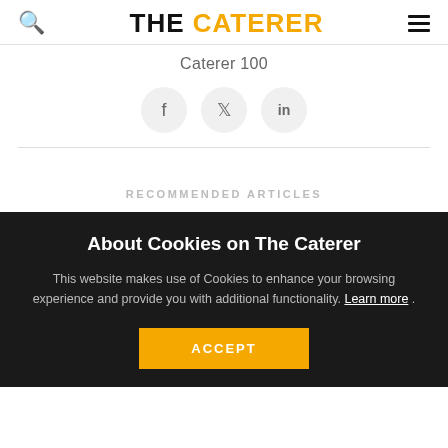THE CATERER
Caterer 100
[Figure (other): Social share icons: Facebook, Twitter, LinkedIn]
RECOMMENDED ARTICLES
About Cookies on The Caterer
This website makes use of Cookies to enhance your browsing experience and provide you with additional functionality. Learn more .
ACCEPT